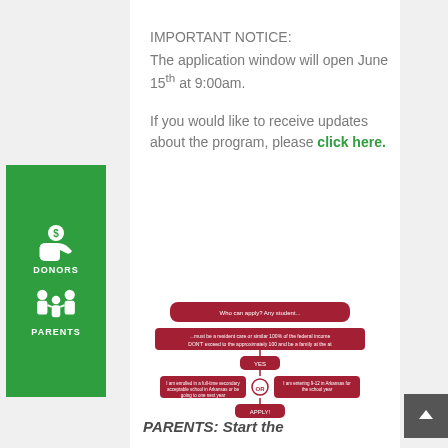IMPORTANT NOTICE:
The application window will open June 15th at 9:00am.
If you would like to receive updates about the program, please click here.
[Figure (flowchart): A red and white flowchart diagram showing eligibility steps for a program]
PARENTS: Start the